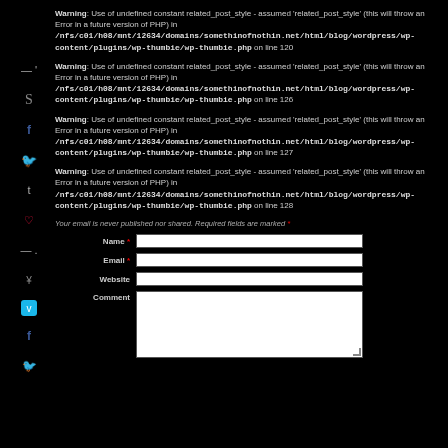Warning: Use of undefined constant related_post_style - assumed 'related_post_style' (this will throw an Error in a future version of PHP) in /nfs/c01/h08/mnt/12634/domains/somethinofnothin.net/html/blog/wordpress/wp-content/plugins/wp-thumbie/wp-thumbie.php on line 120
Warning: Use of undefined constant related_post_style - assumed 'related_post_style' (this will throw an Error in a future version of PHP) in /nfs/c01/h08/mnt/12634/domains/somethinofnothin.net/html/blog/wordpress/wp-content/plugins/wp-thumbie/wp-thumbie.php on line 126
Warning: Use of undefined constant related_post_style - assumed 'related_post_style' (this will throw an Error in a future version of PHP) in /nfs/c01/h08/mnt/12634/domains/somethinofnothin.net/html/blog/wordpress/wp-content/plugins/wp-thumbie/wp-thumbie.php on line 127
Warning: Use of undefined constant related_post_style - assumed 'related_post_style' (this will throw an Error in a future version of PHP) in /nfs/c01/h08/mnt/12634/domains/somethinofnothin.net/html/blog/wordpress/wp-content/plugins/wp-thumbie/wp-thumbie.php on line 128
Your email is never published nor shared. Required fields are marked *
Name * [input field]
Email * [input field]
Website [input field]
Comment [textarea]